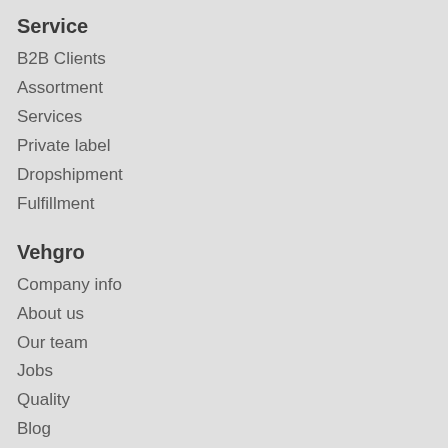Service
B2B Clients
Assortment
Services
Private label
Dropshipment
Fulfillment
Vehgro
Company info
About us
Our team
Jobs
Quality
Blog
FAQ
Tips & News